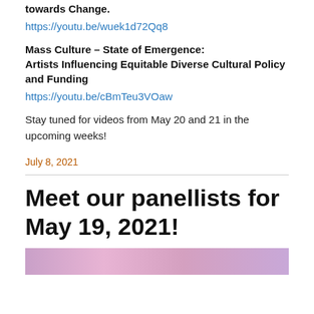towards Change.
https://youtu.be/wuek1d72Qq8
Mass Culture – State of Emergence: Artists Influencing Equitable Diverse Cultural Policy and Funding
https://youtu.be/cBmTeu3VOaw
Stay tuned for videos from May 20 and 21 in the upcoming weeks!
July 8, 2021
Meet our panellists for May 19, 2021!
[Figure (photo): Colorful photo strip at bottom of page]